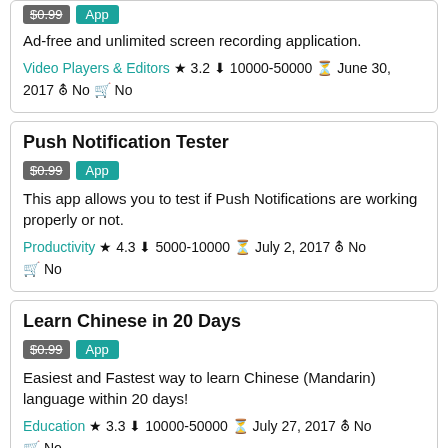Ad-free and unlimited screen recording application. Video Players & Editors ★ 3.2 ↙ 10000-50000 ⊙ June 30, 2017 ⊗ No 🛒 No
Push Notification Tester
$0.99 App
This app allows you to test if Push Notifications are working properly or not.
Productivity ★ 4.3 ↙ 5000-10000 ⊙ July 2, 2017 ⊗ No 🛒 No
Learn Chinese in 20 Days
$0.99 App
Easiest and Fastest way to learn Chinese (Mandarin) language within 20 days!
Education ★ 3.3 ↙ 10000-50000 ⊙ July 27, 2017 ⊗ No 🛒 No